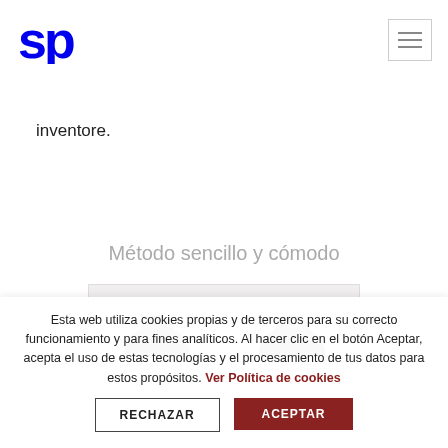[Figure (logo): SP logo in blue, stylized letters]
inventore.
Método sencillo y cómodo
[Figure (photo): Two partially visible avatar/portrait images cropped from top, showing dark hair on grey background]
Esta web utiliza cookies propias y de terceros para su correcto funcionamiento y para fines analíticos. Al hacer clic en el botón Aceptar, acepta el uso de estas tecnologías y el procesamiento de tus datos para estos propósitos. Ver Política de cookies
RECHAZAR
ACEPTAR